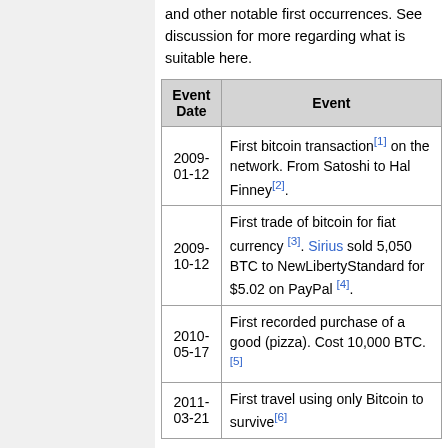and other notable first occurrences. See discussion for more regarding what is suitable here.
| Event Date | Event |
| --- | --- |
| 2009-01-12 | First bitcoin transaction[1] on the network. From Satoshi to Hal Finney[2]. |
| 2009-10-12 | First trade of bitcoin for fiat currency [3]. Sirius sold 5,050 BTC to NewLibertyStandard for $5.02 on PayPal [4]. |
| 2010-05-17 | First recorded purchase of a good (pizza). Cost 10,000 BTC.[5] |
| 2011-03-21 | First travel using only Bitcoin to survive[6] |